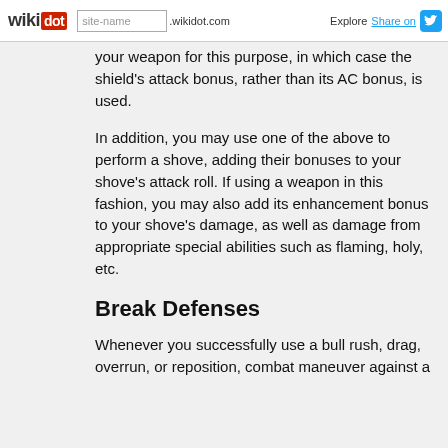wikidot | site-name .wikidot.com | Explore | Share on
your weapon for this purpose, in which case the shield's attack bonus, rather than its AC bonus, is used.
In addition, you may use one of the above to perform a shove, adding their bonuses to your shove's attack roll. If using a weapon in this fashion, you may also add its enhancement bonus to your shove's damage, as well as damage from appropriate special abilities such as flaming, holy, etc.
Break Defenses
Whenever you successfully use a bull rush, drag, overrun, or reposition, combat maneuver against a